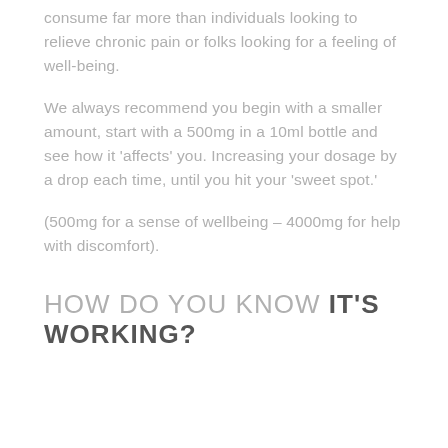consume far more than individuals looking to relieve chronic pain or folks looking for a feeling of well-being.
We always recommend you begin with a smaller amount, start with a 500mg in a 10ml bottle and see how it 'affects' you. Increasing your dosage by a drop each time, until you hit your 'sweet spot.'
(500mg for a sense of wellbeing – 4000mg for help with discomfort).
HOW DO YOU KNOW IT'S WORKING?